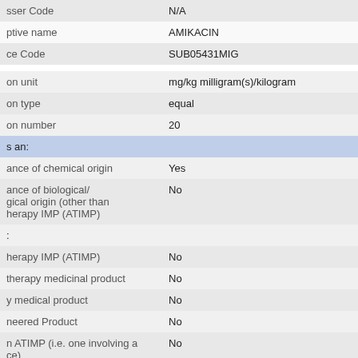| Field | Value |
| --- | --- |
| sser Code | N/A |
| ptive name | AMIKACIN |
| ce Code | SUB05431MIG |
| on unit | mg/kg milligram(s)/kilogram |
| on type | equal |
| on number | 20 |
| s an: |  |
| ance of chemical origin | Yes |
| ance of biological/
gical origin (other than
herapy IMP (ATIMP) | No |
| : |  |
| herapy IMP (ATIMP) | No |
| therapy medicinal product | No |
| y medical product | No |
| neered Product | No |
| n ATIMP (i.e. one involving a
ce) | No |